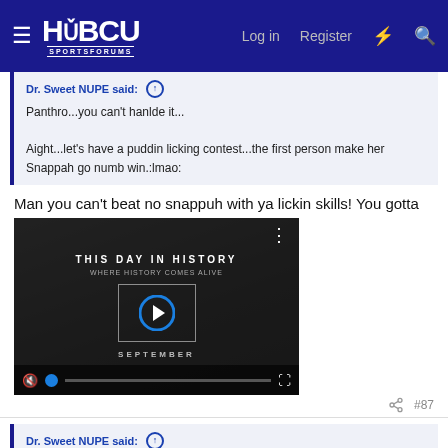HBCU Sports Forums — Log in  Register
Dr. Sweet NUPE said: ↑
Panthro...you can't hanlde it...

Aight...let's have a puddin licking contest...the first person make her Snappah go numb win.:lmao:
Man you can't beat no snappuh with ya lickin skills! You gotta
[Figure (screenshot): Video player thumbnail showing 'THIS DAY IN HISTORY' with SEPTEMBER label. Dark background with two people. Play button in center, progress bar at bottom, mute button and fullscreen icon visible. Three-dot menu in top right.]
#87
Dr. Sweet NUPE said: ↑
Panthro...you can't hanlde it...

Aight...let's have a puddin licking contest...the first person make her